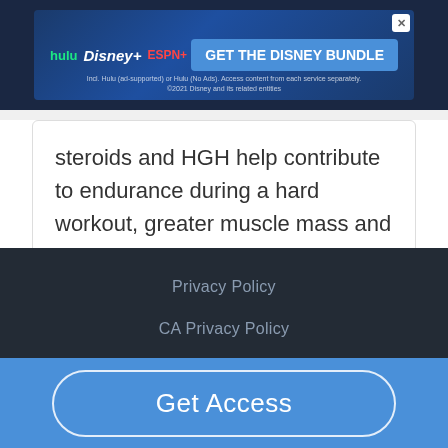[Figure (screenshot): Disney Bundle advertisement banner with Hulu, Disney+, and ESPN+ logos and 'GET THE DISNEY BUNDLE' call to action button]
steroids and HGH help contribute to endurance during a hard workout, greater muscle mass and strength, and quicker recovery....
Read More
Privacy Policy
CA Privacy Policy
Get Access